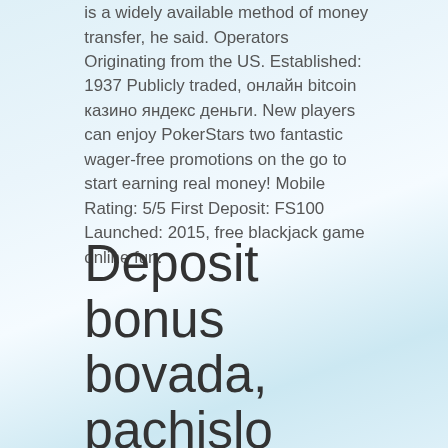is a widely available method of money transfer, he said. Operators Originating from the US. Established: 1937 Publicly traded, онлайн bitcoin казино яндекс деньги. New players can enjoy PokerStars two fantastic wager-free promotions on the go to start earning real money! Mobile Rating: 5/5 First Deposit: FS100 Launched: 2015, free blackjack game online fun.
Deposit bonus bovada, pachislo azteca slot machine manual japanese skill stop
Now gamblers can install extensions to smartphones and enjoy the game anywhere: at work, walking, in the park, in transport, and so on. Of course, not everyone is used to playing slot apps that pay real cash from a smartphone and immediately think whether